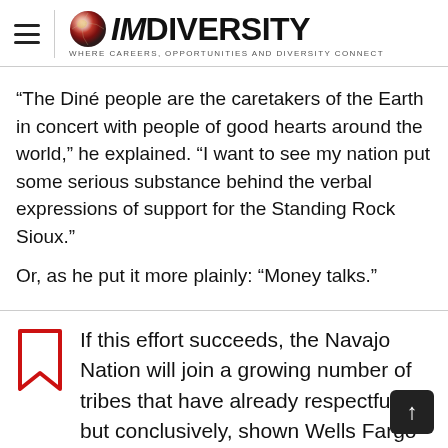IMDiversity — Where Careers, Opportunities and Diversity Connect
“The Diné people are the caretakers of the Earth in concert with people of good hearts around the world,” he explained. “I want to see my nation put some serious substance behind the verbal expressions of support for the Standing Rock Sioux.”
Or, as he put it more plainly: “Money talks.”
If this effort succeeds, the Navajo Nation will join a growing number of tribes that have already respectfully, but conclusively, shown Wells Fargo th…